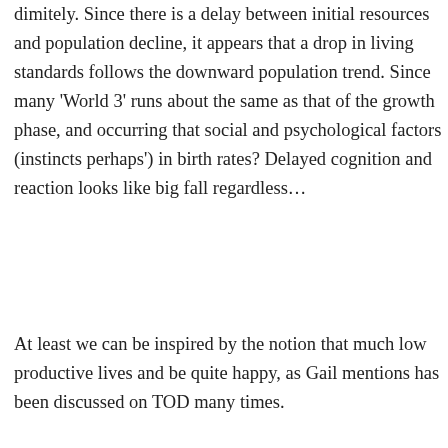dimitely. Since there is a delay between initial resource population decline, it appears that a drop in living standards follows the downward population trend. Since many 'World 3' runs show a decline at about the same as that of the growth phase, and occurring quickly, we know that social and psychological factors (instincts perhaps) cause changes in birth rates? Delayed cognition and reaction looks like there will be a big fall regardless…
At least we can be inspired by the notion that much lower energy/capita productive lives and be quite happy, as Gail mentions has been discussed on TOD many times.
Like
gailtheactuary says:
February 21, 2012 at 12:44 pm
I have considerable reservations about how we... The financial system is not modeled in World... from other sources. When modeling was done...